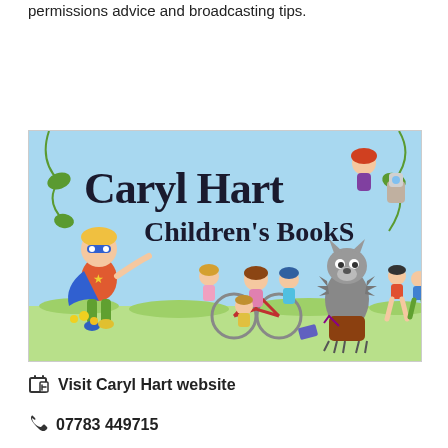permissions advice and broadcasting tips.
[Figure (illustration): Caryl Hart Children's Books banner image showing illustrated cartoon children characters, a wolf, and a superhero boy on a grassy background with the text 'Caryl Hart Children's Books']
Visit Caryl Hart website
07783 449715